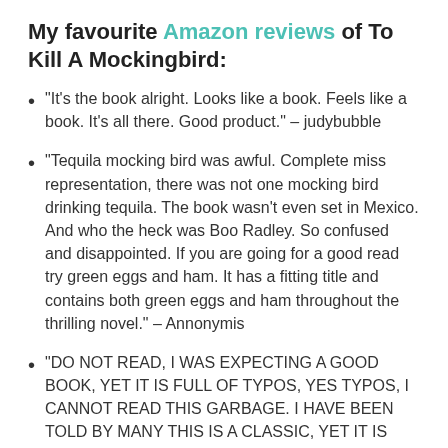My favourite Amazon reviews of To Kill A Mockingbird:
“It’s the book alright. Looks like a book. Feels like a book. It’s all there. Good product.” – judybubble
“Tequila mocking bird was awful. Complete miss representation, there was not one mocking bird drinking tequila. The book wasn’t even set in Mexico. And who the heck was Boo Radley. So confused and disappointed. If you are going for a good read try green eggs and ham. It has a fitting title and contains both green eggs and ham throughout the thrilling novel.” – Annonymis
“DO NOT READ, I WAS EXPECTING A GOOD BOOK, YET IT IS FULL OF TYPOS, YES TYPOS, I CANNOT READ THIS GARBAGE. I HAVE BEEN TOLD BY MANY THIS IS A CLASSIC, YET IT IS